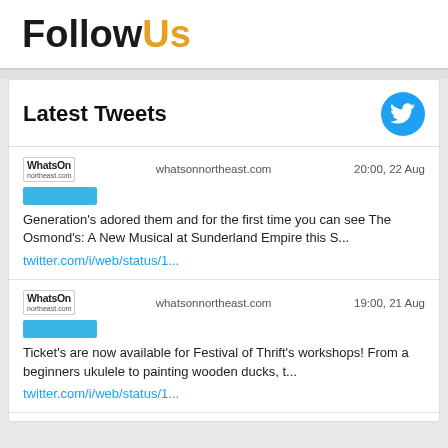FollowUs
Latest Tweets
whatsonnortheast.com    20:00, 22 Aug
Generation's adored them and for the first time you can see The Osmond's: A New Musical at Sunderland Empire this S...
twitter.com/i/web/status/1...
whatsonnortheast.com    19:00, 21 Aug
Ticket's are now available for Festival of Thrift's workshops! From a beginners ukulele to painting wooden ducks, t...
twitter.com/i/web/status/1...